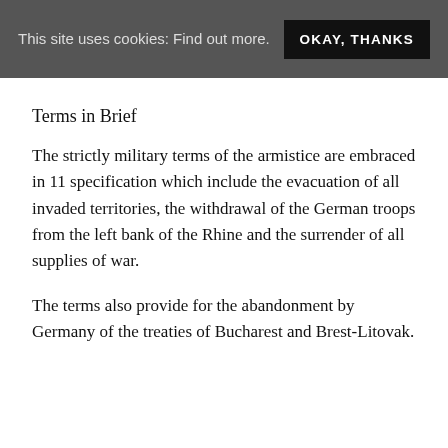This site uses cookies: Find out more. OKAY, THANKS
Terms in Brief
The strictly military terms of the armistice are embraced in 11 specification which include the evacuation of all invaded territories, the withdrawal of the German troops from the left bank of the Rhine and the surrender of all supplies of war.
The terms also provide for the abandonment by Germany of the treaties of Bucharest and Brest-Litovak.